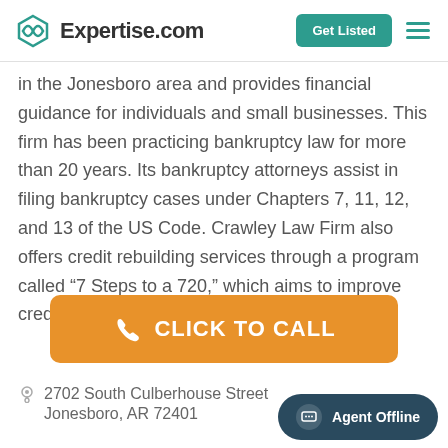Expertise.com
in the Jonesboro area and provides financial guidance for individuals and small businesses. This firm has been practicing bankruptcy law for more than 20 years. Its bankruptcy attorneys assist in filing bankruptcy cases under Chapters 7, 11, 12, and 13 of the US Code. Crawley Law Firm also offers credit rebuilding services through a program called “7 Steps to a 720,” which aims to improve credit scores within a year.
CLICK TO CALL
2702 South Culberhouse Street Jonesboro, AR 72401